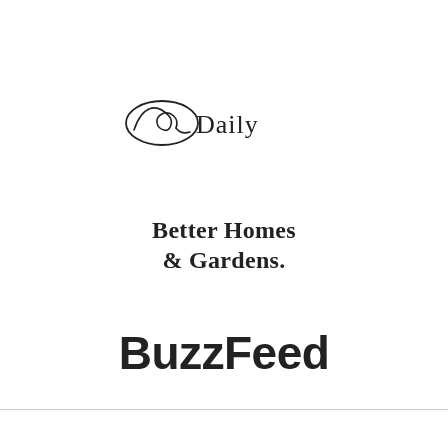[Figure (logo): Oprah Daily logo: cursive 'Oprah' signature with oval ellipse swirl followed by 'Daily' in serif text]
[Figure (logo): Better Homes & Gardens. logo in bold serif font, two lines centered]
[Figure (logo): BuzzFeed logo in large bold sans-serif font]